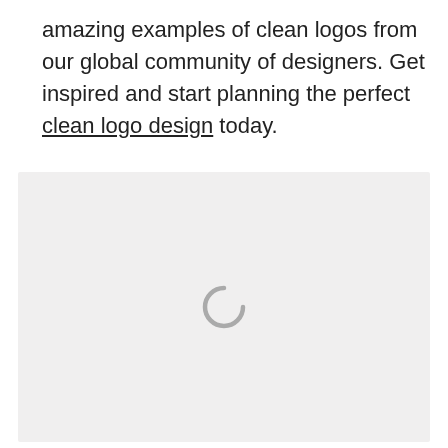amazing examples of clean logos from our global community of designers. Get inspired and start planning the perfect clean logo design today.
[Figure (other): A light gray placeholder/loading area with a spinner icon centered in the lower portion of the box, indicating content is loading.]